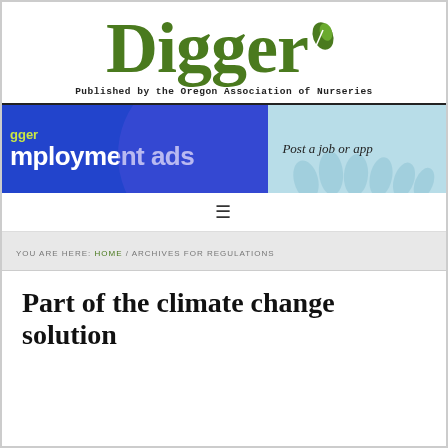[Figure (logo): Digger magazine logo - large green serif text 'Digger' with a small green leaf icon, tagline 'Published by the Oregon Association of Nurseries']
[Figure (infographic): Banner advertisement for Digger employment ads - blue background on left with yellow-green 'gger' text and white 'mployment ads' text; light blue right side with silhouette hands and text 'Post a job or app']
≡
YOU ARE HERE: HOME / ARCHIVES FOR REGULATIONS
Part of the climate change solution